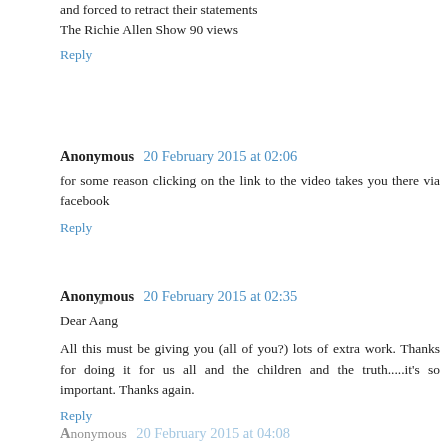and forced to retract their statements
The Richie Allen Show 90 views
Reply
Anonymous  20 February 2015 at 02:06
for some reason clicking on the link to the video takes you there via facebook
Reply
Anonymous  20 February 2015 at 02:35
Dear Aang
All this must be giving you (all of you?) lots of extra work. Thanks for doing it for us all and the children and the truth.....it's so important. Thanks again.
Reply
Anonymous  20 February 2015 at 04:08